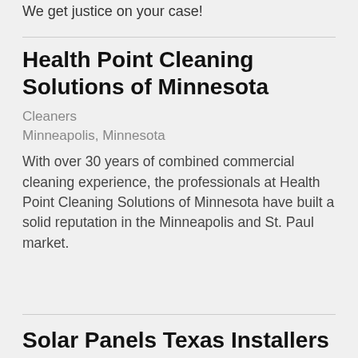We get justice on your case!
Health Point Cleaning Solutions of Minnesota
Cleaners
Minneapolis, Minnesota
With over 30 years of combined commercial cleaning experience, the professionals at Health Point Cleaning Solutions of Minnesota have built a solid reputation in the Minneapolis and St. Paul market.
Solar Panels Texas Installers